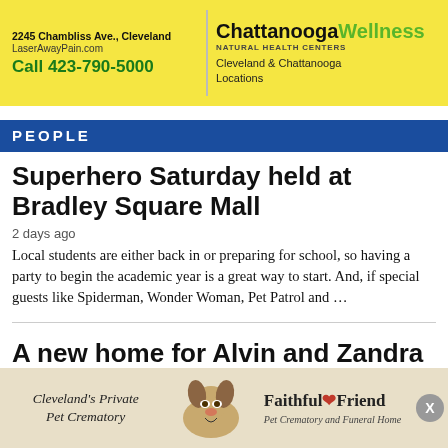[Figure (illustration): Advertisement for Chattanooga Wellness Natural Health Centers. Yellow background with green leaf logo. Text: 2245 Chambliss Ave., Cleveland, LaserAwayPain.com, Call 423-790-5000, Chattanooga Wellness NATURAL HEALTH CENTERS, Cleveland & Chattanooga Locations.]
PEOPLE
Superhero Saturday held at Bradley Square Mall
2 days ago
Local students are either back in or preparing for school, so having a party to begin the academic year is a great way to start. And, if special guests like Spiderman, Wonder Woman, Pet Patrol and …
A new home for Alvin and Zandra Jackson
2 days ago
Alvin Jackson was wounded in the Vietnam War and still carries a piece of shrapnel. He and his wife, Zandra, have been living in a
[Figure (illustration): Advertisement for Faithful Friend Pet Crematory and Funeral Home, Cleveland's Private Pet Crematory. Tan background with image of a beagle dog.]